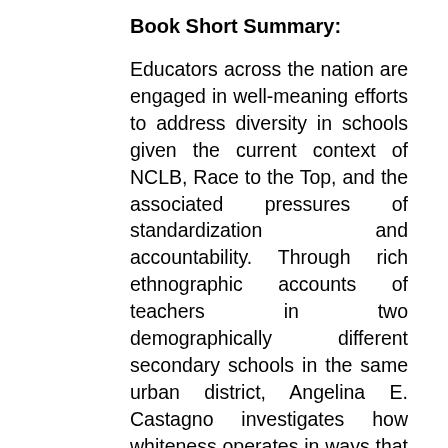Book Short Summary:
Educators across the nation are engaged in well-meaning efforts to address diversity in schools given the current context of NCLB, Race to the Top, and the associated pressures of standardization and accountability. Through rich ethnographic accounts of teachers in two demographically different secondary schools in the same urban district, Angelina E. Castagno investigates how whiteness operates in ways that thwart (and sometimes co-opt) even the best intentions and common sense—thus resulting in educational policies and practices that reinforce the status quo and protect whiteness rather than working toward greater equity. Whereas most discussions of the education of diverse students focus on the students and families themselves, Educated in Whiteness highlights the structural and